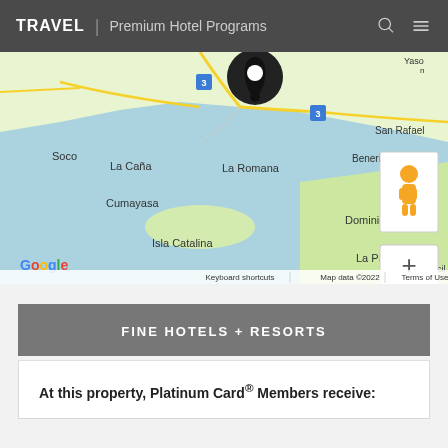TRAVEL | Premium Hotel Programs
[Figure (map): Google Maps view showing La Romana area in Dominican Republic, including locations: Soco, La Caña, La Romana, Benerito, San Rafael, Cumayasa, Isla Catalina, Dominicus, La Palmilla. Map controls visible (zoom +/- and street view pegman). Google logo and 'Keyboard shortcuts | Map data ©2022 | Terms of Use' at bottom.]
FINE HOTELS + RESORTS
At this property, Platinum Card® Members receive: